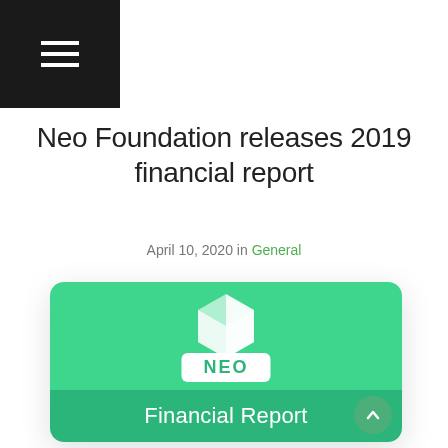Navigation menu
Neo Foundation releases 2019 financial report
April 10, 2020 in General
[Figure (illustration): NEO Foundation Financial Report card with green background, NEO logo (white geometric shape), NEO label in white pill, and 'Financial Report' text on darker green lower band.]